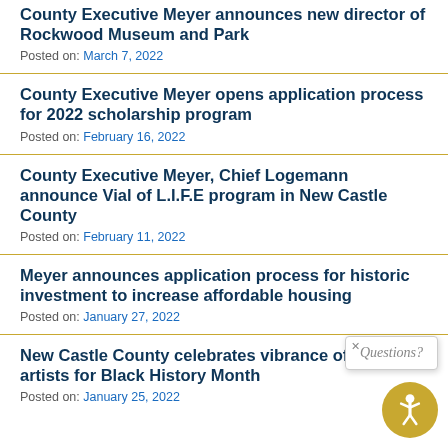County Executive Meyer announces new director of Rockwood Museum and Park
Posted on: March 7, 2022
County Executive Meyer opens application process for 2022 scholarship program
Posted on: February 16, 2022
County Executive Meyer, Chief Logemann announce Vial of L.I.F.E program in New Castle County
Posted on: February 11, 2022
Meyer announces application process for historic investment to increase affordable housing
Posted on: January 27, 2022
New Castle County celebrates vibrance of local artists for Black History Month
Posted on: January 25, 2022